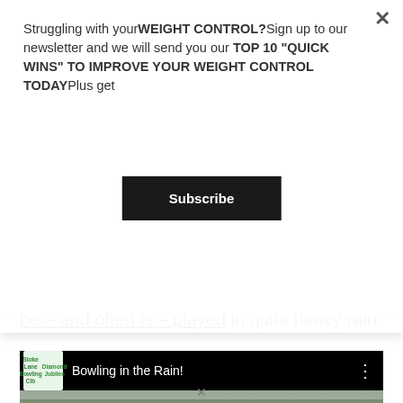Struggling with yourWEIGHT CONTROL?Sign up to our newsletter and we will send you our TOP 10 “QUICK WINS” TO IMPROVE YOUR WEIGHT CONTROL TODAYPlus get
Subscribe
be – and often is – played in quite heavy rain.
[Figure (screenshot): YouTube video thumbnail showing outdoor lawn bowling scene in rain, titled 'Bowling in the Rain!', with players in blue and red jackets, white tents, and green grass.]
x